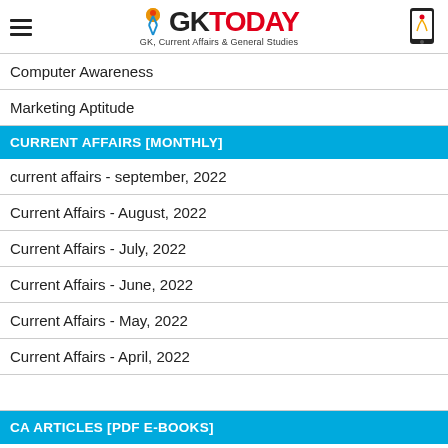GK TODAY — GK, Current Affairs & General Studies
Computer Awareness
Marketing Aptitude
CURRENT AFFAIRS [MONTHLY]
current affairs - september, 2022
Current Affairs - August, 2022
Current Affairs - July, 2022
Current Affairs - June, 2022
Current Affairs - May, 2022
Current Affairs - April, 2022
वर्तमान घटना सितम्बर
CA ARTICLES [PDF E-BOOKS]
Reports & Indices
Awards, Honours, Persons & Places in News